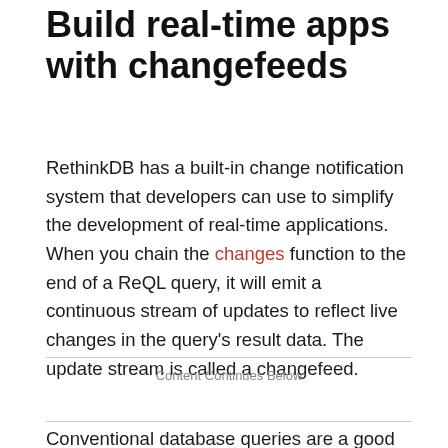Build real-time apps with changefeeds
RethinkDB has a built-in change notification system that developers can use to simplify the development of real-time applications. When you chain the changes function to the end of a ReQL query, it will emit a continuous stream of updates to reflect live changes in the query’s result data. The update stream is called a changefeed.
Content Continues Below
Conventional database queries are a good fit for